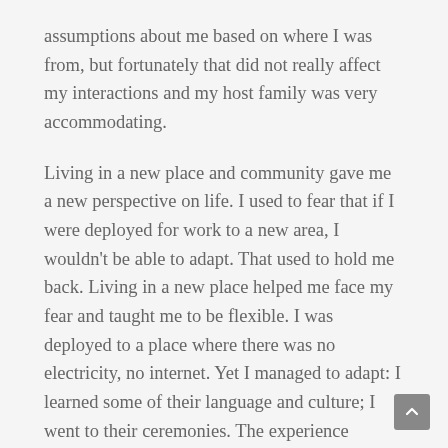assumptions about me based on where I was from, but fortunately that did not really affect my interactions and my host family was very accommodating.
Living in a new place and community gave me a new perspective on life. I used to fear that if I were deployed for work to a new area, I wouldn't be able to adapt. That used to hold me back. Living in a new place helped me face my fear and taught me to be flexible. I was deployed to a place where there was no electricity, no internet. Yet I managed to adapt: I learned some of their language and culture; I went to their ceremonies. The experience toughened me up a bit, and it taught me to accommodate diversity and the different opinions and values people hold without making them feel uncomfortable.